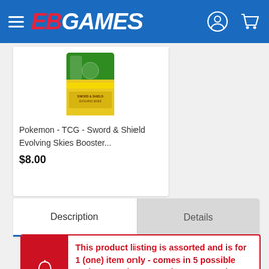EB GAMES
[Figure (photo): Pokemon TCG Sword & Shield Evolving Skies Booster Pack product image]
Pokemon - TCG - Sword & Shield Evolving Skies Booster...
$8.00
Description
Details
This product listing is assorted and is for 1 (one) item only - comes in 5 possible variants. Variants are chosen at random at time of shipping. We cannot take requests or make exchanges for specific variants